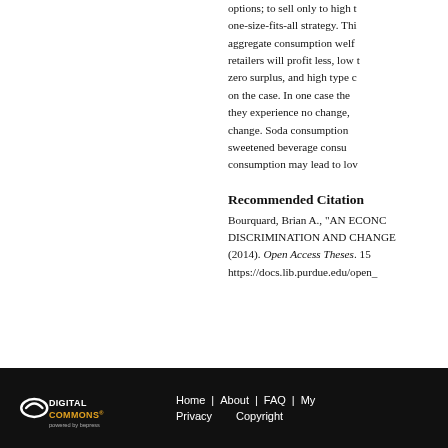options; to sell only to high type consumers using a one-size-fits-all strategy. This impacts aggregate consumption welfare in that retailers will profit less, low type consumers zero surplus, and high type consumers depend on the case. In one case they gain, in another they experience no change, and others see a change. Soda consumption and sugar sweetened beverage consumption. Soda consumption may lead to low
Recommended Citation
Bourquard, Brian A., "AN ECONO... DISCRIMINATION AND CHANGE... (2014). Open Access Theses. 15... https://docs.lib.purdue.edu/open_...
[Figure (logo): DigitalCommons powered by bepress logo in white on black background]
Home | About | FAQ | My... Privacy Copyright